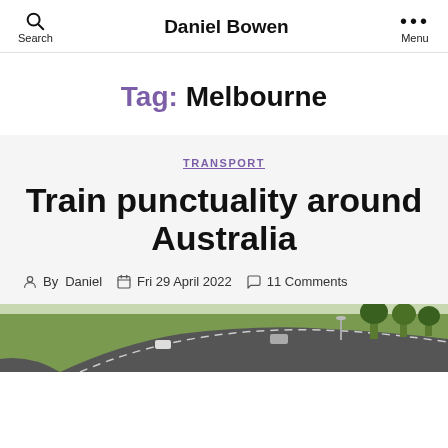Daniel Bowen | Search | Menu
Tag: Melbourne
TRANSPORT
Train punctuality around Australia
By Daniel  Fri 29 April 2022  11 Comments
[Figure (photo): Aerial or elevated view of a road with cars, grass verges, and trees in the background, partially visible at the bottom of the page.]